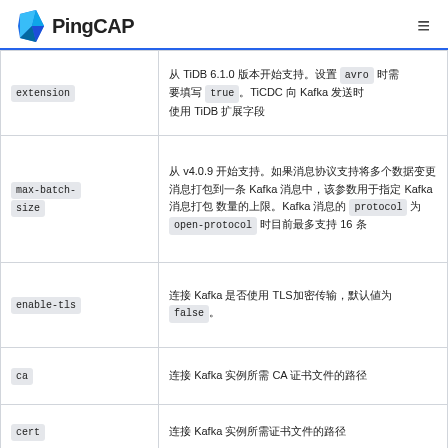PingCAP
| Parameter | Description |
| --- | --- |
| extension | 从 TiDB 6.1.0 版本开始支持。设置 avro 时需要填写 true。TiCDC 向 Kafka 发送时使用 TiDB 扩展字段 |
| max-batch-size | 从 v4.0.9 开始支持。如果消息协议支持将多个数据变更消息打包到一条 Kafka 消息中，该参数用于指定消息打包数量的上限。Kafka 消息的 protocol 为 open-protocol 时目前最多支持 16 条 |
| enable-tls | 连接 Kafka 是否使用 TLS加密传输，默认值为 false。 |
| ca | 连接 Kafka 实例所需 CA 证书文件的路径 |
| cert | 连接 Kafka 实例所需证书文件的路径 |